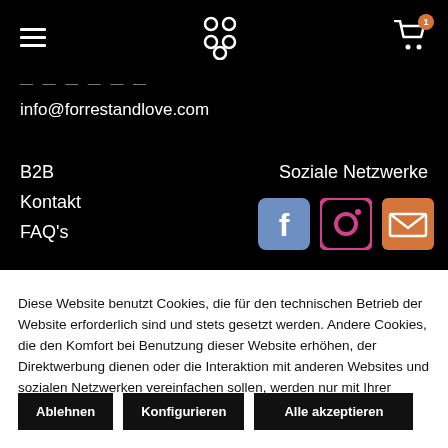Navigation bar with hamburger menu, logo, and cart icon with badge 1
— — — — — — —
info@forrestandlove.com
B2B
Kontakt
FAQ's
Soziale Netzwerke
[Figure (logo): Facebook, Instagram and email social media icons]
Diese Website benutzt Cookies, die für den technischen Betrieb der Website erforderlich sind und stets gesetzt werden. Andere Cookies, die den Komfort bei Benutzung dieser Website erhöhen, der Direktwerbung dienen oder die Interaktion mit anderen Websites und sozialen Netzwerken vereinfachen sollen, werden nur mit Ihrer Zustimmung gesetzt.
Ablehnen
Konfigurieren
Alle akzeptieren